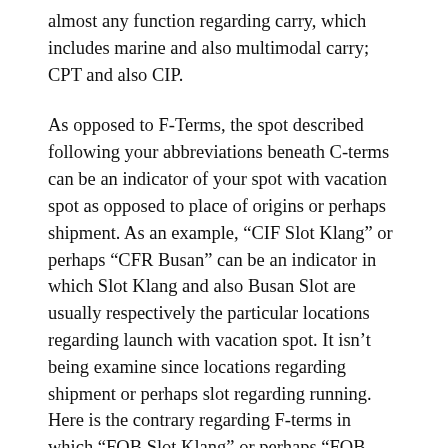almost any function regarding carry, which includes marine and also multimodal carry; CPT and also CIP.
As opposed to F-Terms, the spot described following your abbreviations beneath C-terms can be an indicator of your spot with vacation spot as opposed to place of origins or perhaps shipment. As an example, “CIF Slot Klang” or perhaps “CFR Busan” can be an indicator in which Slot Klang and also Busan Slot are usually respectively the particular locations regarding launch with vacation spot. It isn’t being examine since locations regarding shipment or perhaps slot regarding running. Here is the contrary regarding F-terms in which “FOB Slot Klang” or perhaps “FOB Busan” suggests in which Slot Klang and also Busan Slot are usually respectively the particular locations regarding shipment or perhaps slot regarding running.